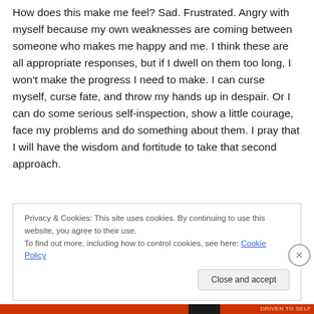How does this make me feel? Sad. Frustrated. Angry with myself because my own weaknesses are coming between someone who makes me happy and me. I think these are all appropriate responses, but if I dwell on them too long, I won't make the progress I need to make. I can curse myself, curse fate, and throw my hands up in despair. Or I can do some serious self-inspection, show a little courage, face my problems and do something about them. I pray that I will have the wisdom and fortitude to take that second approach.
Privacy & Cookies: This site uses cookies. By continuing to use this website, you agree to their use.
To find out more, including how to control cookies, see here: Cookie Policy